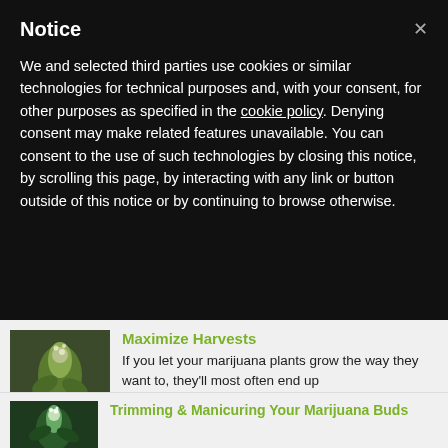Notice
We and selected third parties use cookies or similar technologies for technical purposes and, with your consent, for other purposes as specified in the cookie policy. Denying consent may make related features unavailable. You can consent to the use of such technologies by closing this notice, by scrolling this page, by interacting with any link or button outside of this notice or by continuing to browse otherwise.
[Figure (photo): Close-up photo of a marijuana plant bud with white pistils and green leaves]
Maximize Harvests
If you let your marijuana plants grow the way they want to, they'll most often end up looking like a Christmas tree. When you grow outdoors or indoors if you…
[Figure (photo): Photo of a marijuana plant bud with white spiky pistils against a green background]
Trimming & Manicuring Your Marijuana Buds